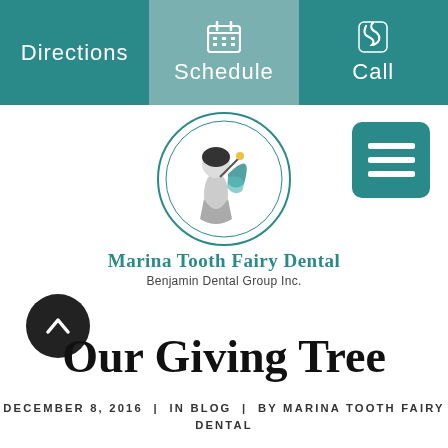Directions  |  Schedule  |  Call
[Figure (logo): Marina Tooth Fairy Dental logo — circular emblem with fairy figure and teal accent, above brand name text]
Marina Tooth Fairy Dental
Benjamin Dental Group Inc.
Our Giving Tree
DECEMBER 8, 2016  |  IN BLOG  |  BY MARINA TOOTH FAIRY DENTAL